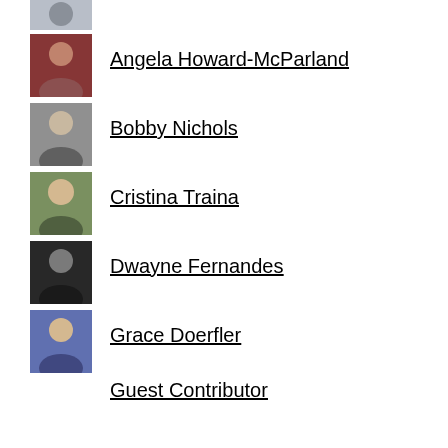[Figure (photo): Headshot of first person (partially visible at top)]
Angela Howard-McParland
[Figure (photo): Headshot of Angela Howard-McParland]
Bobby Nichols
[Figure (photo): Headshot of Bobby Nichols]
Cristina Traina
[Figure (photo): Headshot of Cristina Traina]
Dwayne Fernandes
[Figure (photo): Headshot of Dwayne Fernandes]
Grace Doerfler
[Figure (photo): Headshot of Grace Doerfler]
Guest Contributor